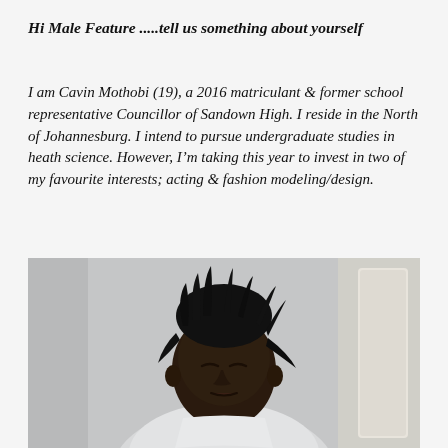Hi Male Feature .....tell us something about yourself
I am Cavin Mothobi (19), a 2016 matriculant & former school representative Councillor of Sandown High. I reside in the North of Johannesburg. I intend to pursue undergraduate studies in heath science. However, I'm taking this year to invest in two of my favourite interests; acting & fashion modeling/design.
[Figure (photo): Portrait photo of a young man with dreadlocks piled on top of his head, looking downward, wearing a light-coloured top, photographed against a light grey background.]